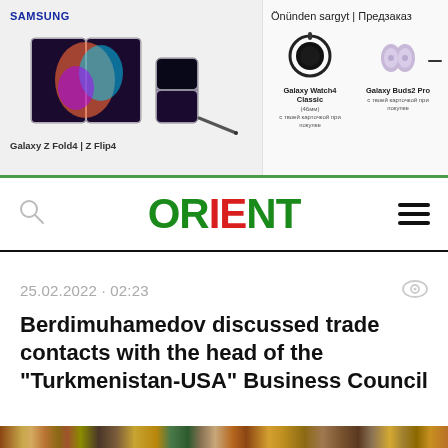[Figure (photo): Samsung advertisement banner showing Galaxy Z Fold4 and Z Flip4 phones, with pre-order section showing Galaxy Watch4 Classic and Galaxy Buds2 Pro]
ORIENT
25.02.2022 · 02:23
Berdimuhamedov discussed trade contacts with the head of the "Turkmenistan-USA" Business Council
[Figure (photo): Decorative bottom strip with ornamental pattern]